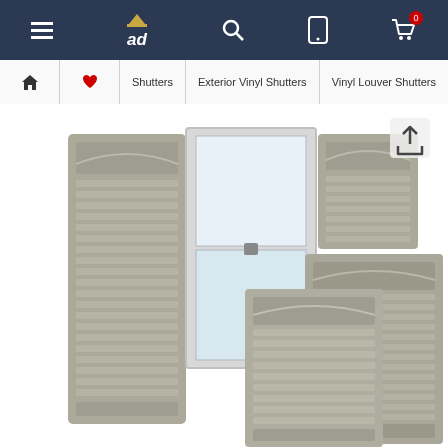[Figure (screenshot): Mobile e-commerce website header navigation bar with hamburger menu, 'ad' logo with hat icon, search icon, mobile device icon, and shopping cart icon with badge showing 0]
[Figure (screenshot): Breadcrumb navigation showing: home icon, heart/favorites icon, Shutters, Exterior Vinyl Shutters, Vinyl Louver Shutters]
[Figure (photo): Product photo of gray vinyl louver shutters displayed around a white window frame, with two individual shutter panels shown in foreground. Also features a share/export icon in upper right.]